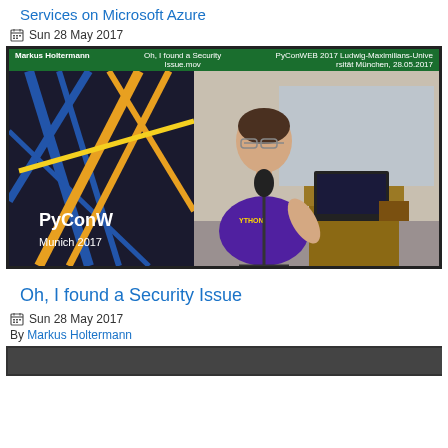Services on Microsoft Azure
Sun 28 May 2017
[Figure (photo): Video thumbnail of PyConWEB 2017 talk: Markus Holtermann presenting 'Oh, I found a Security Issue.mov' at Ludwig-Maximilians-Universität München, 28.05.2017. Speaker in purple shirt at podium with PyConWeb Munich 2017 banner in background.]
Oh, I found a Security Issue
Sun 28 May 2017
By Markus Holtermann